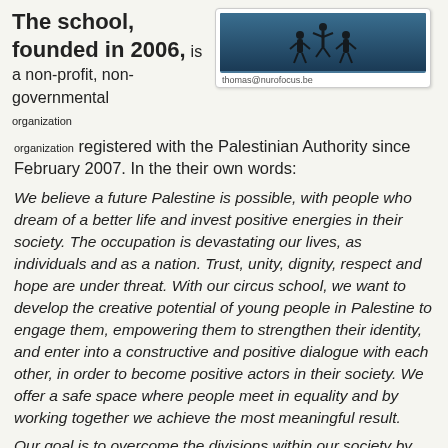The school, founded in 2006, is a non-profit, non-governmental organization registered with the Palestinian Authority since February 2007. In the their own words:
[Figure (photo): Photo of performers/acrobats silhouetted against a blue background, with caption 'thomas@nurofocus.be']
We believe a future Palestine is possible, with people who dream of a better life and invest positive energies in their society. The occupation is devastating our lives, as individuals and as a nation. Trust, unity, dignity, respect and hope are under threat. With our circus school, we want to develop the creative potential of young people in Palestine to engage them, empowering them to strengthen their identity, and enter into a constructive and positive dialogue with each other, in order to become positive actors in their society. We offer a safe space where people meet in equality and by working together we achieve the most meaningful result.
Our goal is to overcome the divisions within our society by working with everybody, everywhere. By bringing people